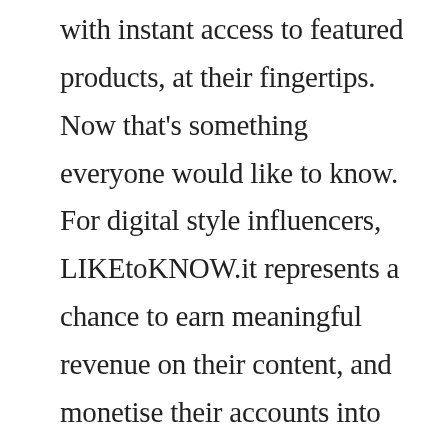with instant access to featured products, at their fingertips. Now that's something everyone would like to know. For digital style influencers, LIKEtoKNOW.it represents a chance to earn meaningful revenue on their content, and monetise their accounts into thriving small businesses. Basically, it's a consumer facing, ready-to-shop, mobile friendly platform that empowers millions of socially inspired shoppers, across the globe. To date, it's drummed up more than $100 million in sales to retail partners, and scored more than 1.9 million Instagram followers